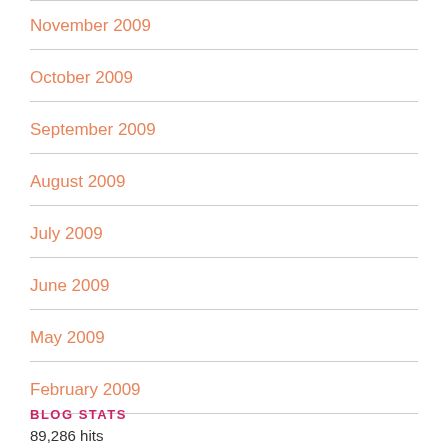November 2009
October 2009
September 2009
August 2009
July 2009
June 2009
May 2009
February 2009
BLOG STATS
89,286 hits